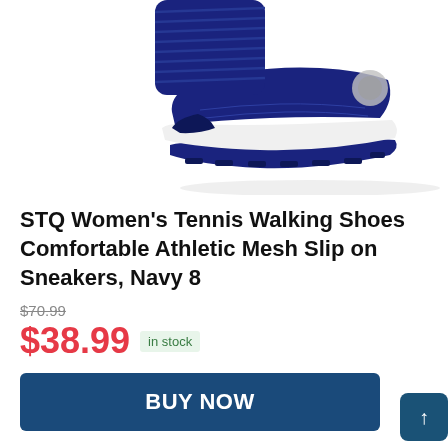[Figure (photo): Navy blue athletic slip-on sneaker with mesh upper and white sole, photographed from a low angle showing the toe and sole.]
STQ Women's Tennis Walking Shoes Comfortable Athletic Mesh Slip on Sneakers, Navy 8
$70.99 (strikethrough original price)
$38.99 in stock
BUY NOW